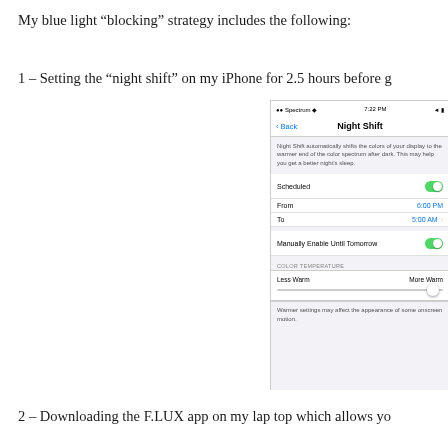My blue light “blocking” strategy includes the following:
1 – Setting the “night shift” on my iPhone for 2.5 hours before g
[Figure (screenshot): iPhone Night Shift settings screen showing Scheduled toggle on, From 6:00 PM To 5:00 AM, Manually Enable Until Tomorrow toggle on, and a Color Temperature slider near More Warm end.]
2 – Downloading the F.LUX app on my lap top which allows yo